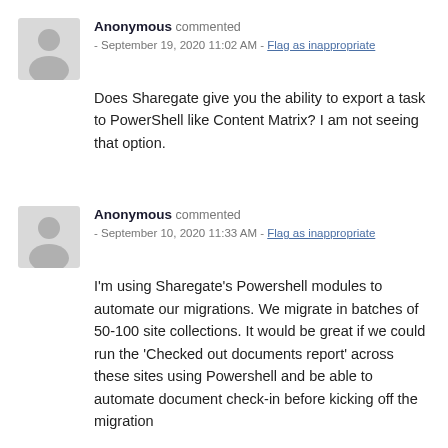Anonymous commented - September 19, 2020 11:02 AM - Flag as inappropriate
Does Sharegate give you the ability to export a task to PowerShell like Content Matrix? I am not seeing that option.
Anonymous commented - September 10, 2020 11:33 AM - Flag as inappropriate
I'm using Sharegate's Powershell modules to automate our migrations. We migrate in batches of 50-100 site collections. It would be great if we could run the 'Checked out documents report' across these sites using Powershell and be able to automate document check-in before kicking off the migration